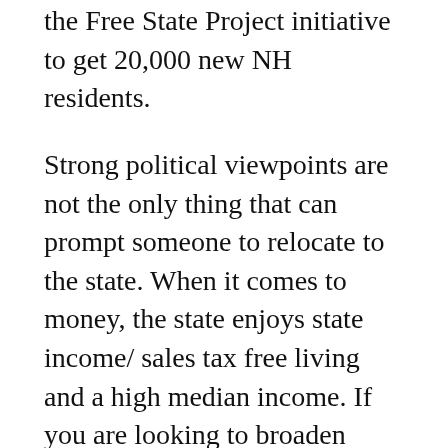the Free State Project initiative to get 20,000 new NH residents.
Strong political viewpoints are not the only thing that can prompt someone to relocate to the state. When it comes to money, the state enjoys state income/ sales tax free living and a high median income. If you are looking to broaden your mind with higher education, attend NH colleges and universities. Such options include Univ. of New Hampshire, Southern NH University & Ivy League Dartmouth College.
If you enjoy sporting activities, you can partake in the outdoors during all seasons of the year.